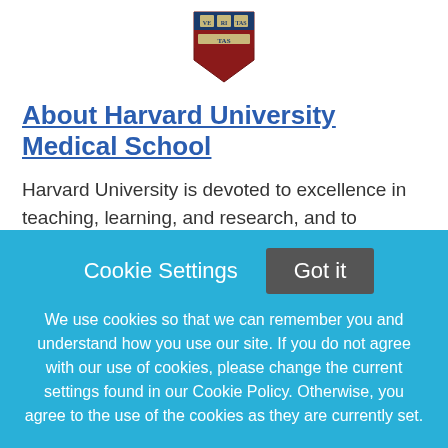[Figure (logo): Harvard University shield/crest logo in red and blue]
About Harvard University Medical School
Harvard University is devoted to excellence in teaching, learning, and research, and to developing leaders in many disciplines who make a difference globally. The University, which is based in Cambridge and Boston, Massachusetts, has an enrollment of over 20,000 degree candidates, including undergraduate, graduate, and professional students. Harvard has more than
Cookie Settings   Got it
We use cookies so that we can remember you and understand how you use our site. If you do not agree with our use of cookies, please change the current settings found in our Cookie Policy. Otherwise, you agree to the use of the cookies as they are currently set.